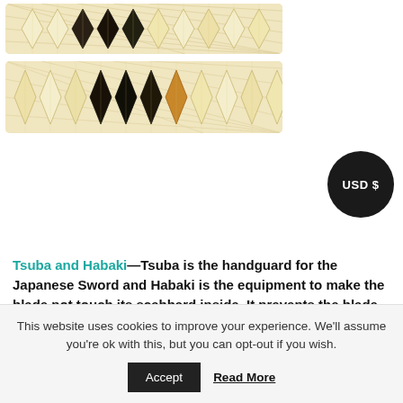[Figure (photo): Close-up of Japanese sword handle (tsuka) showing cream/beige woven ito wrapping in diamond pattern with black menuki decorations visible through gaps - top band]
[Figure (photo): Close-up of Japanese sword handle (tsuka) showing cream/beige woven ito wrapping in diamond pattern with black menuki decorations visible through gaps - bottom band]
[Figure (other): Black circular badge with white text reading 'USD $']
Tsuba and Habaki — Tsuba is the handguard for the Japanese Sword and Habaki is the equipment to make the blade not touch its scabbard inside. It prevents the blade from getting rusty and chipped.
This website uses cookies to improve your experience. We'll assume you're ok with this, but you can opt-out if you wish.
Accept
Read More